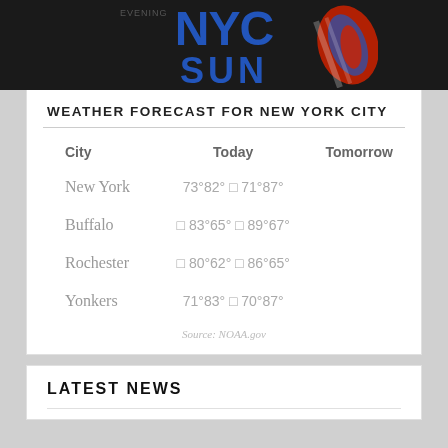[Figure (logo): NYC Sun newspaper logo with blue block letters NYC and SUN on dark background, with red and blue swirl graphic on right side]
WEATHER FORECAST FOR NEW YORK CITY
| City | Today | Tomorrow |
| --- | --- | --- |
| New York | 73°82° ☁ 71°87° |  |
| Buffalo | ☁ 83°65° ☁ 89°67° |  |
| Rochester | ☁ 80°62° ☁ 86°65° |  |
| Yonkers | 71°83° ☁ 70°87° |  |
Source: NOAA.gov
LATEST NEWS